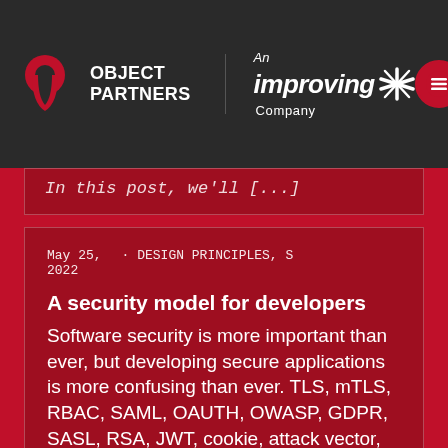OBJECT PARTNERS | An improving Company
In this post, we'll [...]
May 25, 2022 · DESIGN PRINCIPLES, S
A security model for developers
Software security is more important than ever, but developing secure applications is more confusing than ever. TLS, mTLS, RBAC, SAML, OAUTH, OWASP, GDPR, SASL, RSA, JWT, cookie, attack vector, DDoS, firewall, VPN, security groups, exploit, [...]